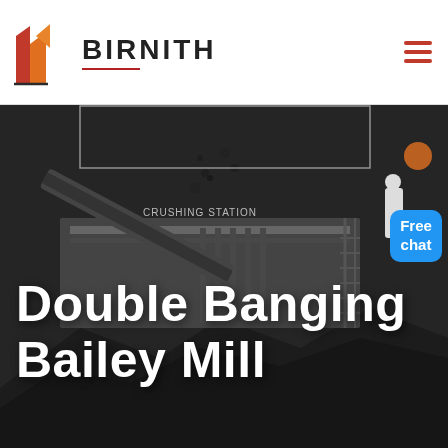[Figure (logo): Birnith company logo with orange building/construction icon and brand name BIRNITH with red underline]
[Figure (photo): Industrial crushing station machinery with conveyor belt, large piles of coal/rocks in dark monochromatic setting]
Double Banging Bailey Mill